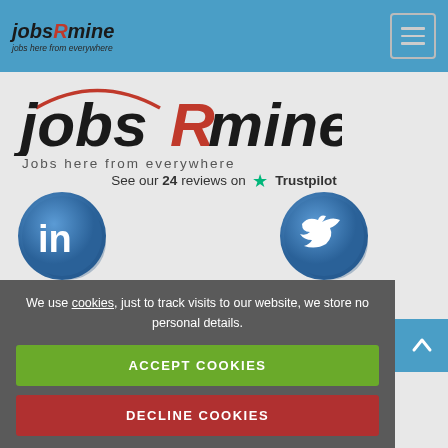jobsRmine — jobs here from everywhere
[Figure (logo): jobsRmine logo with red arc, large italic text and tagline 'Jobs here from everywhere']
See our 24 reviews on ★ Trustpilot
[Figure (logo): LinkedIn circular icon (blue with white 'in' text)]
[Figure (logo): Twitter circular icon (blue with white bird)]
Copyright © 2014 - 2022 jobsRmine® a registered trademark of Amysoft
We use cookies, just to track visits to our website, we store no personal details.
ACCEPT COOKIES
DECLINE COOKIES